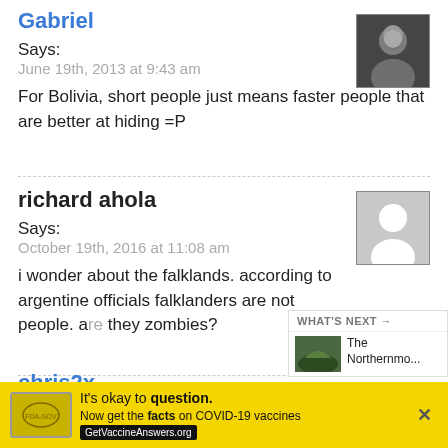Gabriel
Says:
June 19th, 2013 at 9:43 am
For Bolivia, short people just means faster people that are better at hiding =P
[Figure (photo): Black and white avatar photo of Gabriel]
richard ahola
Says:
October 19th, 2016 at 11:08 am
i wonder about the falklands. according to argentine officials falklanders are not people. are they zombies?
[Figure (illustration): Placeholder avatar silhouette for richard ahola]
chris2x
Sa...
WHAT'S NEXT → The Northernmo...
[Figure (photo): Thumbnail image for What's Next article]
It's okay to question. Now get the facts on COVID-19 vaccines GetVaccineAnswers.org